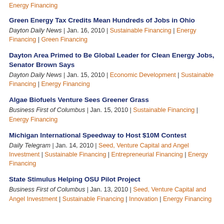Energy Financing
Green Energy Tax Credits Mean Hundreds of Jobs in Ohio
Dayton Daily News | Jan. 16, 2010 | Sustainable Financing | Energy Financing | Green Financing
Dayton Area Primed to Be Global Leader for Clean Energy Jobs, Senator Brown Says
Dayton Daily News | Jan. 15, 2010 | Economic Development | Sustainable Financing | Energy Financing
Algae Biofuels Venture Sees Greener Grass
Business First of Columbus | Jan. 15, 2010 | Sustainable Financing | Energy Financing
Michigan International Speedway to Host $10M Contest
Daily Telegram | Jan. 14, 2010 | Seed, Venture Capital and Angel Investment | Sustainable Financing | Entrepreneurial Financing | Energy Financing
State Stimulus Helping OSU Pilot Project
Business First of Columbus | Jan. 13, 2010 | Seed, Venture Capital and Angel Investment | Sustainable Financing | Innovation | Energy Financing